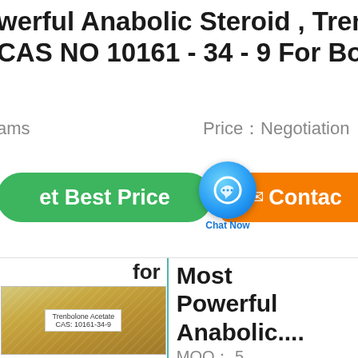werful Anabolic Steroid , Trenbo CAS NO 10161 - 34 - 9 For Body
ams   Price：Negotiation
[Figure (screenshot): Green 'Get Best Price' button, blue 'Chat Now' chat bubble overlay, and orange 'Contact' button]
for
[Figure (photo): Photo of Trenbolone Acetate CAS: 10161-34-9 powder in a plastic bag]
Most Powerful Anabolic....
MOQ： 5